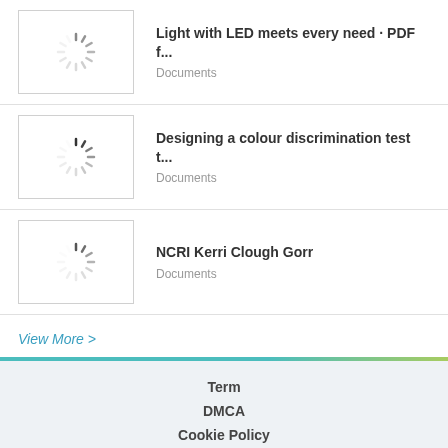[Figure (other): Document listing item with loading spinner thumbnail]
Light with LED meets every need · PDF f...
Documents
[Figure (other): Document listing item with loading spinner thumbnail]
Designing a colour discrimination test t...
Documents
[Figure (other): Document listing item with loading spinner thumbnail]
NCRI Kerri Clough Gorr
Documents
View More >
Term
DMCA
Cookie Policy